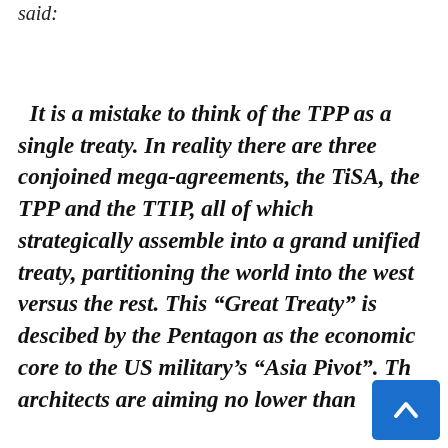...said:
It is a mistake to think of the TPP as a single treaty. In reality there are three conjoined mega-agreements, the TiSA, the TPP and the TTIP, all of which strategically assemble into a grand unified treaty, partitioning the world into the west versus the rest. This “Great Treaty” is descibed by the Pentagon as the economic core to the US military’s “Asia Pivot”. The architects are aiming no lower than